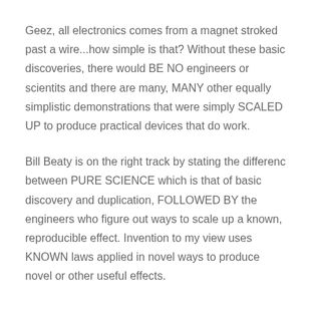Geez, all electronics comes from a magnet stroked past a wire...how simple is that? Without these basic discoveries, there would BE NO engineers or scientits and there are many, MANY other equally simplistic demonstrations that were simply SCALED UP to produce practical devices that do work.
Bill Beaty is on the right track by stating the differenc between PURE SCIENCE which is that of basic discovery and duplication, FOLLOWED BY the engineers who figure out ways to scale up a known, reproducible effect. Invention to my view uses KNOWN laws applied in novel ways to produce novel or other useful effects.